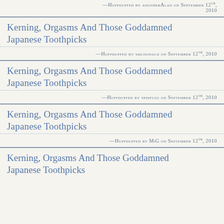—Huffduffed by anotherAlan on September 12th, 2010
Kerning, Orgasms And Those Goddamned Japanese Toothpicks
—Huffduffed by smcdonald on September 12th, 2010
Kerning, Orgasms And Those Goddamned Japanese Toothpicks
—Huffduffed by spinfuzz on September 12th, 2010
Kerning, Orgasms And Those Goddamned Japanese Toothpicks
—Huffduffed by MiG on September 12th, 2010
Kerning, Orgasms And Those Goddamned Japanese Toothpicks